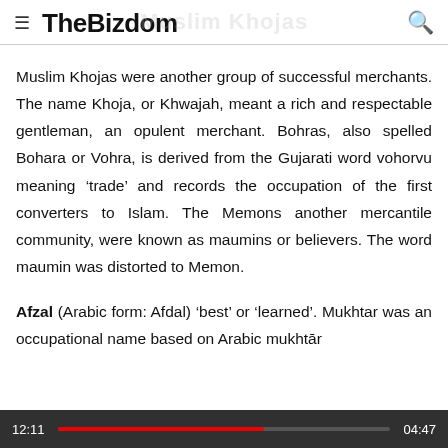TheBizdom
Muslim Khojas were another group of successful merchants. The name Khoja, or Khwajah, meant a rich and respectable gentleman, an opulent merchant. Bohras, also spelled Bohara or Vohra, is derived from the Gujarati word vohorvu meaning ‘trade’ and records the occupation of the first converters to Islam. The Memons another mercantile community, were known as maumins or believers. The word maumin was distorted to Memon.
Afzal (Arabic form: Afdal) ‘best’ or ‘learned’. Mukhtar was an occupational name based on Arabic mukhtār ‘en’ in some areas the title of a village chief
12:11  04:47